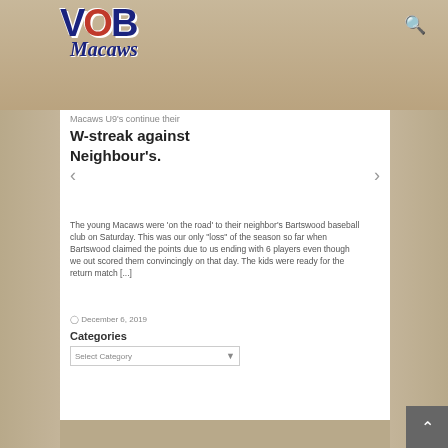[Figure (logo): VOB Macaws baseball team logo with parrot graphic, overlaid on sepia-toned team photo banner]
Macaws U9's continue their W-streak against Neighbour's.
The young Macaws were 'on the road' to their neighbor's Bartswood baseball club on Saturday. This was our only "loss" of the season so far when Bartswood claimed the points due to us ending with 6 players even though we out scored them convincingly on that day. The kids were ready for the return match [...]
December 6, 2019
Categories
Select Category